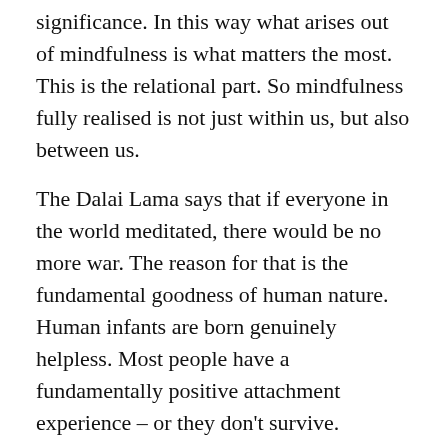significance. In this way what arises out of mindfulness is what matters the most. This is the relational part. So mindfulness fully realised is not just within us, but also between us.
The Dalai Lama says that if everyone in the world meditated, there would be no more war. The reason for that is the fundamental goodness of human nature. Human infants are born genuinely helpless. Most people have a fundamentally positive attachment experience – or they don't survive.
This is reminiscent of Harlow's experiments in which baby monkeys were deprived of maternal interaction and were either developmentally devastated or died. So without the interaction with the mother the baby is like the seed that does not  germinate..